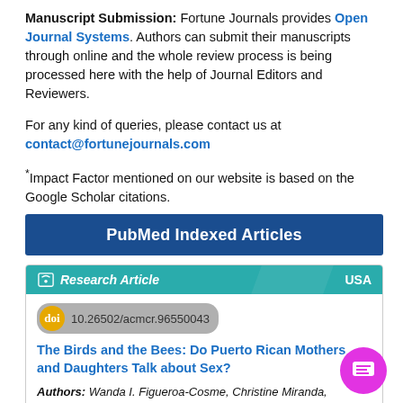Manuscript Submission: Fortune Journals provides Open Journal Systems. Authors can submit their manuscripts through online and the whole review process is being processed here with the help of Journal Editors and Reviewers.
For any kind of queries, please contact us at contact@fortunejournals.com
*Impact Factor mentioned on our website is based on the Google Scholar citations.
PubMed Indexed Articles
[Figure (infographic): Research Article card with teal header showing article type, USA label, DOI badge (10.26502/acmcr.96550043), article title 'The Birds and the Bees: Do Puerto Rican Mothers and Daughters Talk about Sex?', authors line with Wanda I. Figueroa-Cosme, Christine Miranda, Nanet M. Lopez-Cordova, Jose A. Capriles, Carmen N...]